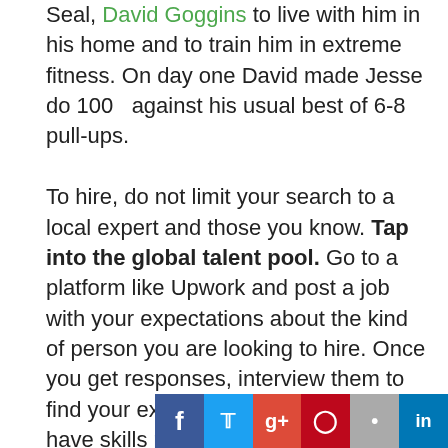Seal, David Goggins to live with him in his home and to train him in extreme fitness. On day one David made Jesse do 100 against his usual best of 6-8 pull-ups.

To hire, do not limit your search to a local expert and those you know. Tap into the global talent pool. Go to a platform like Upwork and post a job with your expectations about the kind of person you are looking to hire. Once you get responses, interview them to find your expert. Look for people who have skills plus who can communicate well because you'll be learning online. Once done, make a learning plan as advised by your expert, make the first payment and get started.
[Figure (other): Social media sharing buttons: Facebook, Twitter, Google+, Pinterest, grey icon, LinkedIn]